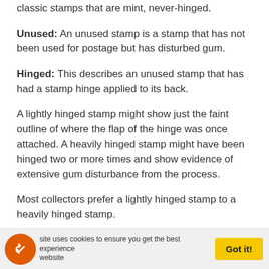classic stamps that are mint, never-hinged.
Unused: An unused stamp is a stamp that has not been used for postage but has disturbed gum.
Hinged: This describes an unused stamp that has had a stamp hinge applied to its back.
A lightly hinged stamp might show just the faint outline of where the flap of the hinge was once attached. A heavily hinged stamp might have been hinged two or more times and show evidence of extensive gum disturbance from the process.
Most collectors prefer a lightly hinged stamp to a heavily hinged stamp.
A United States $2.60 blue Zeppelin Passing Globe airmail stamp (Scott C15) is shown in Figure 1. If this stamp is mint, never-hinged, it has a Scott catalog value of $1,275. If it is unused, hinged, the Scott catalog value
site uses cookies to ensure you get the best experience website